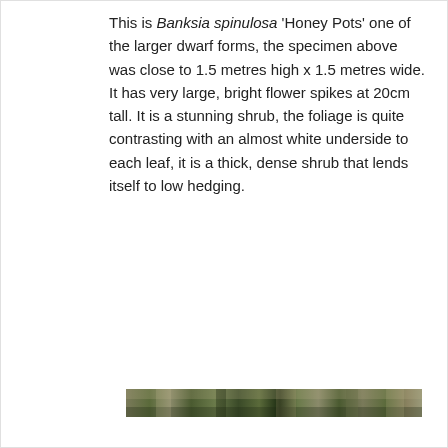This is Banksia spinulosa 'Honey Pots' one of the larger dwarf forms, the specimen above was close to 1.5 metres high x 1.5 metres wide. It has very large, bright flower spikes at 20cm tall. It is a stunning shrub, the foliage is quite contrasting with an almost white underside to each leaf, it is a thick, dense shrub that lends itself to low hedging.
[Figure (photo): A narrow horizontal photograph strip showing vegetation/foliage, likely a banksia shrub, taken outdoors.]